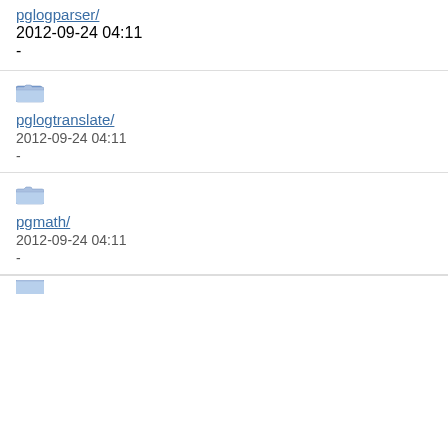pglogparser/
2012-09-24 04:11
-
[Figure (illustration): Folder icon]
pglogtranslate/
2012-09-24 04:11
-
[Figure (illustration): Folder icon]
pgmath/
2012-09-24 04:11
-
[Figure (illustration): Folder icon (partial, bottom of page)]